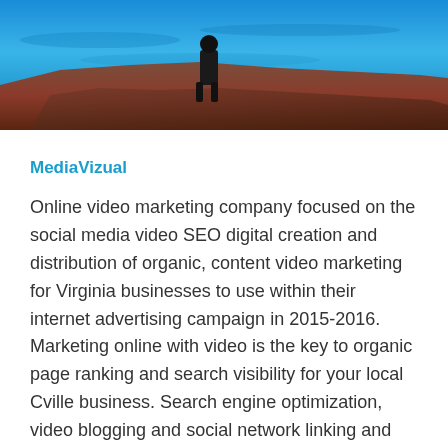[Figure (photo): Outdoor photo showing a rocky cliff or shoreline scene with deep blue water in the background and reddish-brown rocks in the foreground. A person standing on the rocks is partially visible at the bottom center.]
MediaVizual
Online video marketing company focused on the social media video SEO digital creation and distribution of organic, content video marketing for Virginia businesses to use within their internet advertising campaign in 2015-2016. Marketing online with video is the key to organic page ranking and search visibility for your local Cville business. Search engine optimization, video blogging and social network linking and distribution will be the deciding factor to your visibility on the first page of searches on Google, Bing and Yahoo. Promoting small business